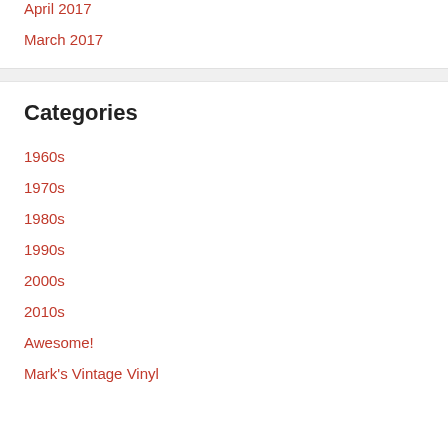April 2017
March 2017
Categories
1960s
1970s
1980s
1990s
2000s
2010s
Awesome!
Mark's Vintage Vinyl